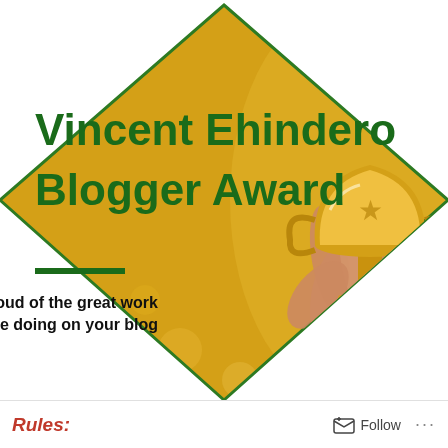[Figure (illustration): Vincent Ehindero Blogger Award graphic: a diamond/kite-shaped image with a golden bokeh background showing a hand holding a large gold trophy. Large dark green bold text reads 'Vincent Ehindero Blogger Award'. A short green horizontal bar sits above the italic black text 'I'm proud of the great work you are doing on your blog'.]
Rules:
Follow ···